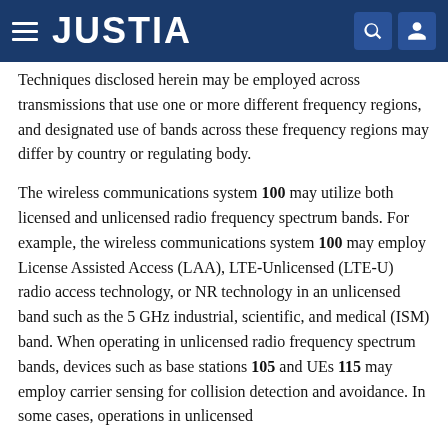JUSTIA
Techniques disclosed herein may be employed across transmissions that use one or more different frequency regions, and designated use of bands across these frequency regions may differ by country or regulating body.
The wireless communications system 100 may utilize both licensed and unlicensed radio frequency spectrum bands. For example, the wireless communications system 100 may employ License Assisted Access (LAA), LTE-Unlicensed (LTE-U) radio access technology, or NR technology in an unlicensed band such as the 5 GHz industrial, scientific, and medical (ISM) band. When operating in unlicensed radio frequency spectrum bands, devices such as base stations 105 and UEs 115 may employ carrier sensing for collision detection and avoidance. In some cases, operations in unlicensed